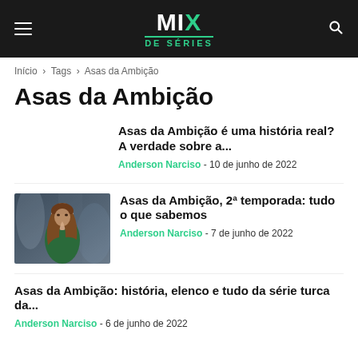MIX DE SÉRIES
Início > Tags > Asas da Ambição
Asas da Ambição
Asas da Ambição é uma história real? A verdade sobre a...
Anderson Narciso - 10 de junho de 2022
[Figure (photo): Photo of a woman in a green top with blurred background]
Asas da Ambição, 2ª temporada: tudo o que sabemos
Anderson Narciso - 7 de junho de 2022
Asas da Ambição: história, elenco e tudo da série turca da...
Anderson Narciso - 6 de junho de 2022